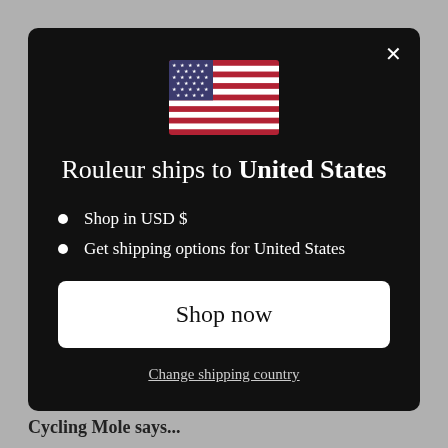[Figure (illustration): US flag SVG illustration centered in modal]
Rouleur ships to United States
Shop in USD $
Get shipping options for United States
Shop now
Change shipping country
Cycling Mole says...